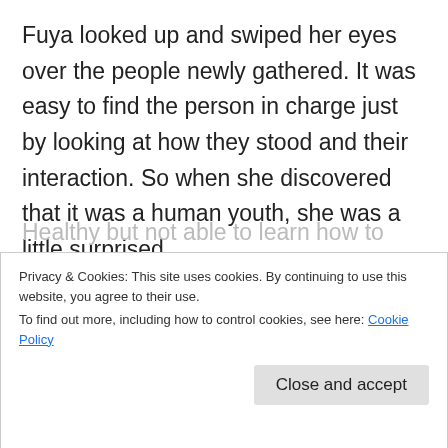Fuya looked up and swiped her eyes over the people newly gathered. It was easy to find the person in charge just by looking at how they stood and their interaction. So when she discovered that it was a human youth, she was a little surprised.
“Hi, you must be the president, I just want to tell you about my son’s situation…” After shaking hands, Fuya told them about how he was in full
Privacy & Cookies: This site uses cookies. By continuing to use this website, you agree to their use.
To find out more, including how to control cookies, see here: Cookie Policy
Healthy but not able to learn how to fly?